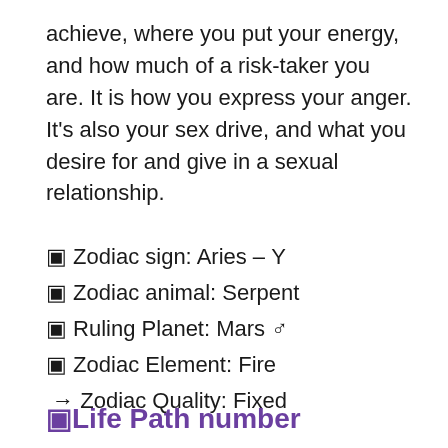achieve, where you put your energy, and how much of a risk-taker you are. It is how you express your anger. It's also your sex drive, and what you desire for and give in a sexual relationship.
🞍 Zodiac sign: Aries – ♈
🞍 Zodiac animal: Serpent
🞍 Ruling Planet: Mars ♂
🞍 Zodiac Element: Fire
→ Zodiac Quality: Fixed
🞍Life Path number